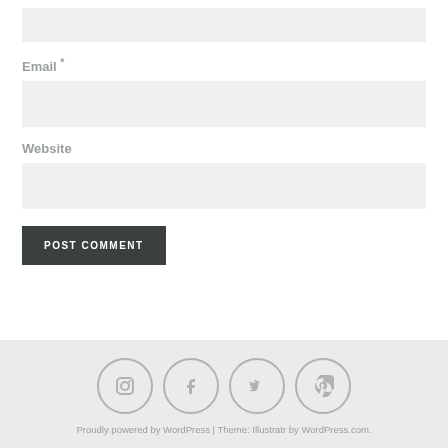[Figure (other): Empty input field (top, partially visible)]
Email *
[Figure (other): Email input field]
Website
[Figure (other): Website input field]
POST COMMENT
Proudly powered by WordPress | Theme: Illustratr by WordPress.com.